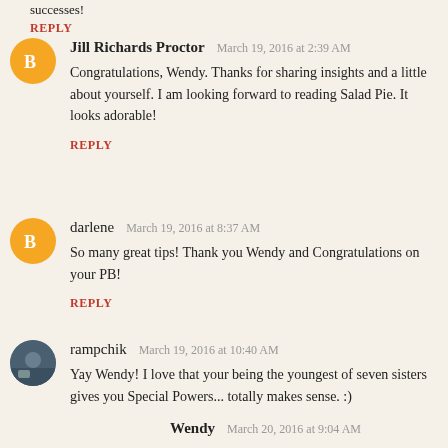REPLY
Jill Richards Proctor  March 19, 2016 at 2:39 AM
Congratulations, Wendy. Thanks for sharing insights and a little about yourself. I am looking forward to reading Salad Pie. It looks adorable!
REPLY
darlene  March 19, 2016 at 8:37 AM
So many great tips! Thank you Wendy and Congratulations on your PB!
REPLY
rampchik  March 19, 2016 at 10:40 AM
Yay Wendy! I love that your being the youngest of seven sisters gives you Special Powers... totally makes sense. :)
Wendy  March 20, 2016 at 9:04 AM